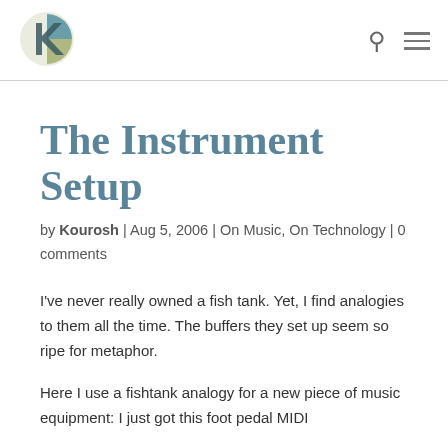[Logo: K icon] [Search icon] [Menu icon]
The Instrument Setup
by Kourosh | Aug 5, 2006 | On Music, On Technology | 0 comments
I've never really owned a fish tank. Yet, I find analogies to them all the time. The buffers they set up seem so ripe for metaphor.
Here I use a fishtank analogy for a new piece of music equipment: I just got this foot pedal MIDI